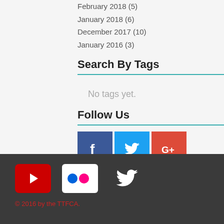February 2018 (5)
January 2018 (6)
December 2017 (10)
January 2016 (3)
Search By Tags
No tags yet.
Follow Us
[Figure (other): Social media icons: Facebook, Twitter, Google+]
[Figure (other): Footer social icons: YouTube, Flickr, Twitter]
© 2016 by the TTFCA.